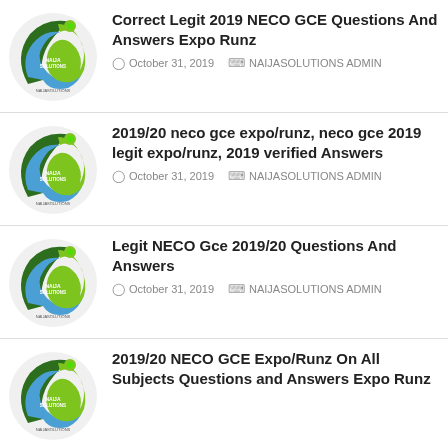Correct Legit 2019 NECO GCE Questions And Answers Expo Runz — October 31, 2019 — NAIJASOLUTIONS ADMIN
2019/20 neco gce expo/runz, neco gce 2019 legit expo/runz, 2019 verified Answers — October 31, 2019 — NAIJASOLUTIONS ADMIN
Legit NECO Gce 2019/20 Questions And Answers — October 31, 2019 — NAIJASOLUTIONS ADMIN
2019/20 NECO GCE Expo/Runz On All Subjects Questions and Answers Expo Runz